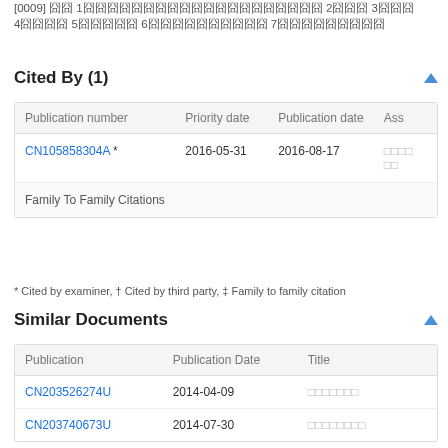[0009] 一种1种种种种种种种种种种种种种种种种种种种种种种2种种种3种种种4种种种种 5种种种种种 6种种种种种种种种种 7种种种种种种种种种
Cited By (1)
| Publication number | Priority date | Publication date | Ass |
| --- | --- | --- | --- |
| CN105858304A * | 2016-05-31 | 2016-08-17 | □□□□□□ |
| Family To Family Citations |  |  |  |
* Cited by examiner, † Cited by third party, ‡ Family to family citation
Similar Documents
| Publication | Publication Date | Title |
| --- | --- | --- |
| CN203526274U | 2014-04-09 | □□□□□□□ |
| CN203740673U | 2014-07-30 | □□□□□□□□ |